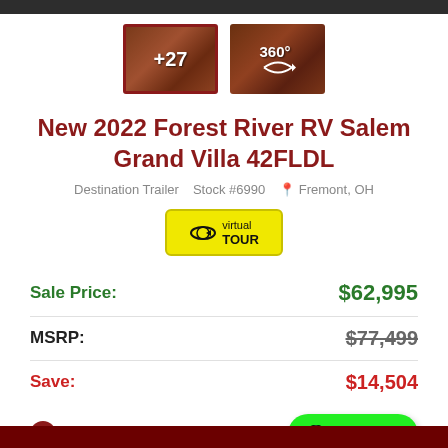[Figure (screenshot): Two RV interior thumbnail images: left selected with '+27' label and dark red border, right with '360°' label]
New 2022 Forest River RV Salem Grand Villa 42FLDL
Destination Trailer   Stock #6990   Fremont, OH
[Figure (other): Virtual Tour button - yellow rounded rectangle with 'virtual TOUR' text and arrow icon]
| Sale Price: | $62,995 |
| MSRP: | $77,499 |
| Save: | $14,504 |
| ✔ Payments From: |  |
[Figure (other): Green 'Text Us!' button with chat bubble icon]